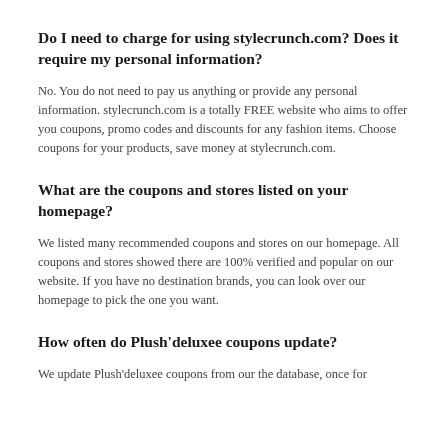Do I need to charge for using stylecrunch.com? Does it require my personal information?
No. You do not need to pay us anything or provide any personal information. stylecrunch.com is a totally FREE website who aims to offer you coupons, promo codes and discounts for any fashion items. Choose coupons for your products, save money at stylecrunch.com.
What are the coupons and stores listed on your homepage?
We listed many recommended coupons and stores on our homepage. All coupons and stores showed there are 100% verified and popular on our website. If you have no destination brands, you can look over our homepage to pick the one you want.
How often do Plush'deluxee coupons update?
We update Plush'deluxee coupons from our the database, once for...